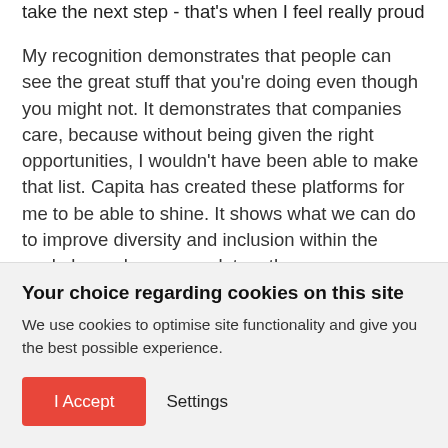take the next step - that's when I feel really proud
My recognition demonstrates that people can see the great stuff that you're doing even though you might not. It demonstrates that companies care, because without being given the right opportunities, I wouldn't have been able to make that list. Capita has created these platforms for me to be able to shine. It shows what we can do to improve diversity and inclusion within the workplace when we work together.
A great leader to me is somebody who leads by example and inspires and motivates people to be the best they can
Your choice regarding cookies on this site
We use cookies to optimise site functionality and give you the best possible experience.
I Accept
Settings